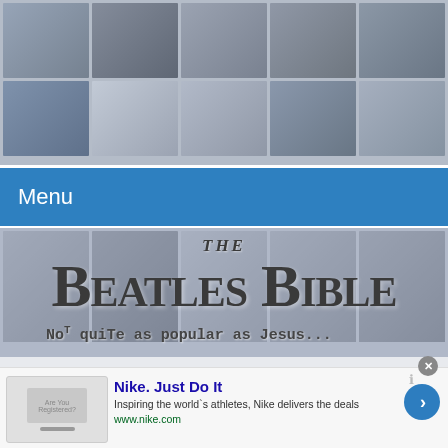[Figure (screenshot): Beatles Bible website screenshot showing a collage of Beatles-related book/album covers as background, a blue menu bar, the site logo 'The Beatles Bible' with tagline 'Not quite as popular as Jesus...', and a Nike advertisement at the bottom]
Menu
THE BEATLES BIBLE
Not quite as popular as Jesus...
Nike. Just Do It
Inspiring the world's athletes, Nike delivers the deals
www.nike.com